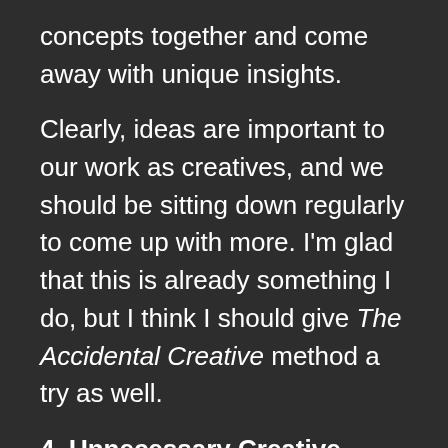concepts together and come away with unique insights.
Clearly, ideas are important to our work as creatives, and we should be sitting down regularly to come up with more. I'm glad that this is already something I do, but I think I should give The Accidental Creative method a try as well.
4. Unnecessary Creative Time
Todd suggests booking an hour a week (one hour every two weeks at minimum) for unnecessary creative time. The reasons are quite simple. When you take